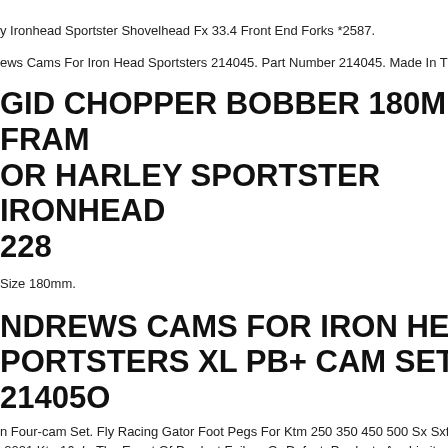y Ironhead Sportster Shovelhead Fx 33.4 Front End Forks *2587.
ews Cams For Iron Head Sportsters 214045. Part Number 214045. Made In The U
GID CHOPPER BOBBER 180MM FRAM OR HARLEY SPORTSTER IRONHEAD 228
Size 180mm.
NDREWS CAMS FOR IRON HEAD PORTSTERS XL PB+ CAM SET 21405O
n Four-cam Set. Fly Racing Gator Foot Pegs For Ktm 250 350 450 500 Sx Sxf Xc -2021 Ktm16. In The Event Of Product Failure Or Defect, Products Are Limited To nfacturer Warranty. Products Will Require Warranty Direct Through The Manufac
69 HARLEY SPORTSTER IRONHEAD